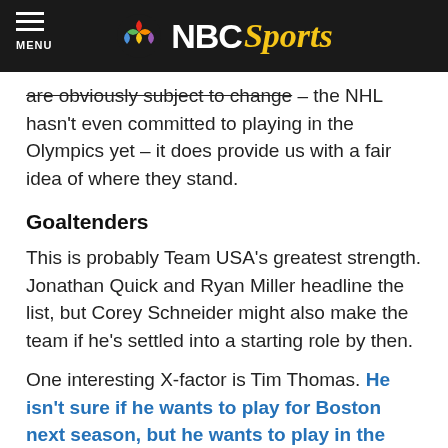NBC Sports
are obviously subject to change – the NHL hasn't even committed to playing in the Olympics yet – it does provide us with a fair idea of where they stand.
Goaltenders
This is probably Team USA's greatest strength. Jonathan Quick and Ryan Miller headline the list, but Corey Schneider might also make the team if he's settled into a starting role by then.
One interesting X-factor is Tim Thomas. He isn't sure if he wants to play for Boston next season, but he wants to play in the Olympics. If he doesn't play in the NHL in 2012-13, then it's hard to see them picking him over some of the other fine choices they'll have. But what if the NHL decides not to participate in the Winter Olympics? Would Tim Thomas stay out of the league and in the hopes that he could be the next one chosen in the